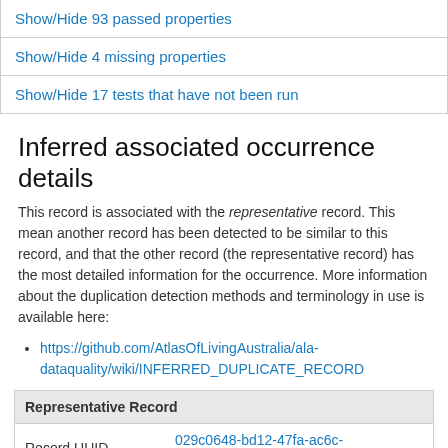Show/Hide 93 passed properties
Show/Hide 4 missing properties
Show/Hide 17 tests that have not been run
Inferred associated occurrence details
This record is associated with the representative record. This mean another record has been detected to be similar to this record, and that the other record (the representative record) has the most detailed information for the occurrence. More information about the duplication detection methods and terminology in use is available here:
https://github.com/AtlasOfLivingAustralia/ala-dataquality/wiki/INFERRED_DUPLICATE_RECORD
| Representative Record |
| --- |
| Record UUID | 029c0648-bd12-47fa-ac6c-0f7651cf6cad |
| Data Resource | Museums Victoria provider for OZCAM |